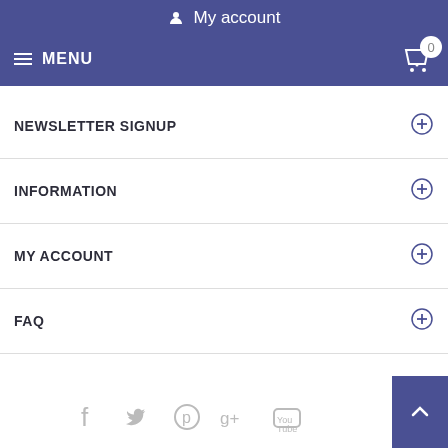My account
MENU
NEWSLETTER SIGNUP
INFORMATION
MY ACCOUNT
FAQ
[Figure (infographic): Social media icons: Facebook, Twitter, Pinterest, Google+, YouTube]